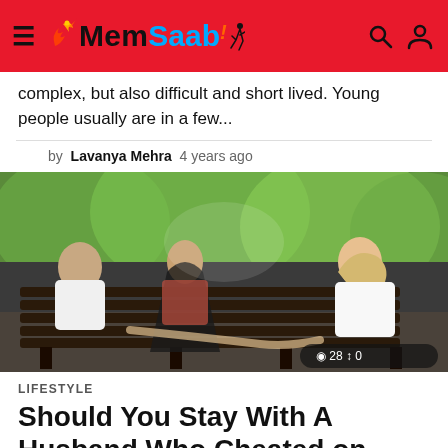MemSaab
complex, but also difficult and short lived. Young people usually are in a few...
by Lavanya Mehra  4 years ago
[Figure (photo): A man sitting on a park bench holding hands with a blonde woman behind him while a dark-haired woman is also present on the bench; trees in background. Stats overlay: 28 views, 0 shares.]
LIFESTYLE
Should You Stay With A Husband Who Cheated on You?